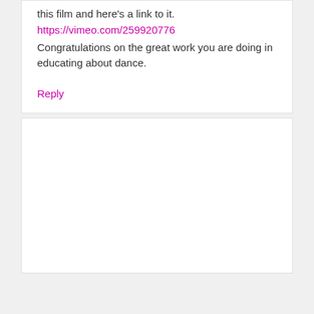this film and here's a link to it.
https://vimeo.com/259920776
Congratulations on the great work you are doing in educating about dance.
Reply